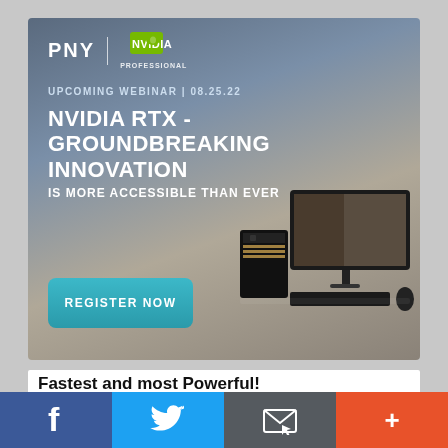[Figure (infographic): PNY and NVIDIA co-branded webinar advertisement banner. Dark gradient background (blue-grey to warm taupe). Shows PNY | NVIDIA logos at top, webinar date text, event title, subtitle, REGISTER NOW button, and a 3D render of a workstation PC tower with monitor and keyboard.]
NVIDIA RTX - GROUNDBREAKING INNOVATION
UPCOMING WEBINAR | 08.25.22
IS MORE ACCESSIBLE THAN EVER
REGISTER NOW
Fastest and most Powerful!
New AMD® Threadripper™ PRO 5000
[Figure (infographic): Social sharing bar with four buttons: Facebook (blue, f icon), Twitter (light blue, bird icon), Email (dark grey, envelope icon), More/share (orange-red, plus icon)]